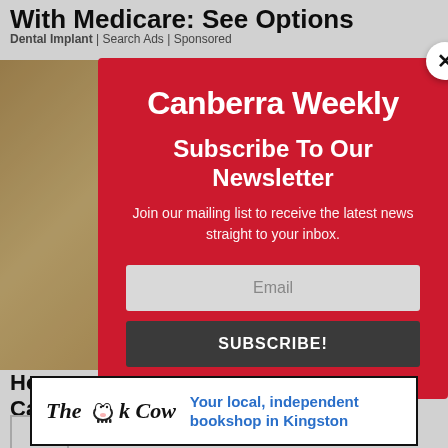With Medicare: See Options
Dental Implant | Search Ads | Sponsored
[Figure (screenshot): Background photo of stone/rock texture visible behind modal overlay]
Ho
Ca
[Figure (screenshot): Canberra Weekly newsletter subscription modal popup with red background. Contains logo 'Canberra Weekly', headline 'Subscribe To Our Newsletter', subtext 'Join our mailing list to receive the latest news straight to your inbox.', an email input field, and a SUBSCRIBE! button. A close X button is in the top right corner.]
[Figure (other): Advertisement for The Book Cow - 'Your local, independent bookshop in Kingston']